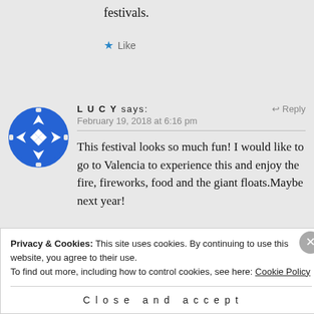festivals.
★ Like
[Figure (illustration): Blue circular avatar icon with a white cross/move symbol made of four white triangles and four white diamond shapes on a blue background with a notched circular border.]
LUCY says:
↩ Reply
February 19, 2018 at 6:16 pm
This festival looks so much fun! I would like to go to Valencia to experience this and enjoy the fire, fireworks, food and the giant floats.Maybe next year!
Privacy & Cookies: This site uses cookies. By continuing to use this website, you agree to their use.
To find out more, including how to control cookies, see here: Cookie Policy
Close and accept